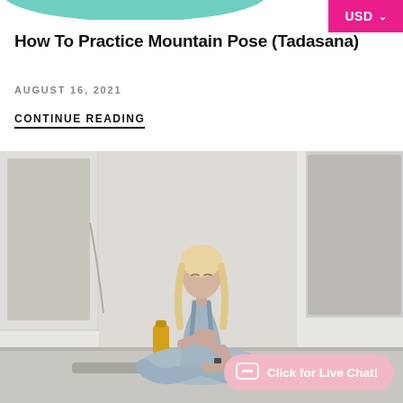[Figure (illustration): Teal/mint colored partial shape at top left, partially cropped]
[Figure (other): Pink/magenta USD currency selector button at top right]
How To Practice Mountain Pose (Tadasana)
AUGUST 16, 2021
CONTINUE READING
[Figure (photo): Woman with blonde hair sitting cross-legged on a yoga mat in a bright studio, wearing light blue yoga pants and tank top, hands on chest and belly, eyes closed. Yellow water bottle and gray yoga block visible in background. Yoga mat on light concrete floor.]
Click for Live Chat!